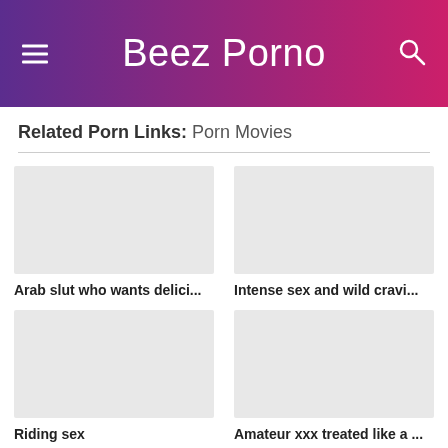Beez Porno
Related Porn Links: Porn Movies
[Figure (screenshot): Thumbnail placeholder for Arab slut who wants delici...]
Arab slut who wants delici...
[Figure (screenshot): Thumbnail placeholder for Intense sex and wild cravi...]
Intense sex and wild cravi...
[Figure (screenshot): Thumbnail placeholder for Riding sex]
Riding sex
[Figure (screenshot): Thumbnail placeholder for Amateur xxx treated like a ...]
Amateur xxx treated like a ...